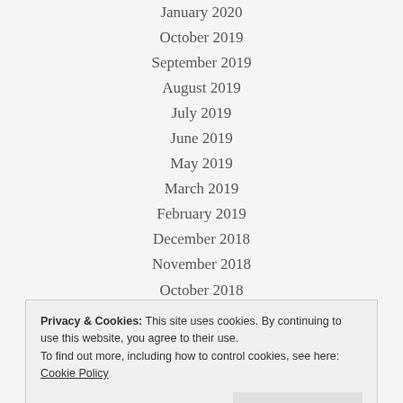January 2020
October 2019
September 2019
August 2019
July 2019
June 2019
May 2019
March 2019
February 2019
December 2018
November 2018
October 2018
September 2018
August 2018
July 2018
Privacy & Cookies: This site uses cookies. By continuing to use this website, you agree to their use.
To find out more, including how to control cookies, see here: Cookie Policy
January 2018